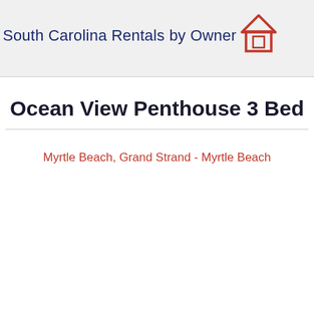South Carolina Rentals by Owner
Ocean View Penthouse 3 Bed
Myrtle Beach, Grand Strand - Myrtle Beach